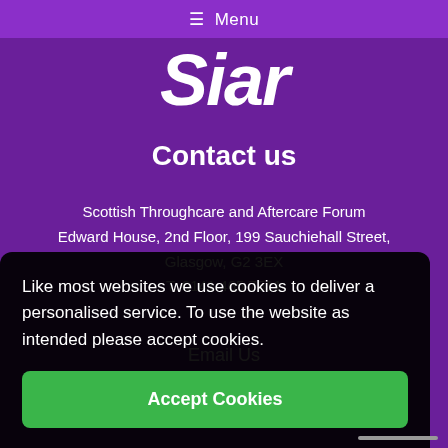≡ Menu
Siar
Contact us
Scottish Throughcare and Aftercare Forum
Edward House, 2nd Floor, 199 Sauchiehall Street,
Glasgow, G2 3EX
T: 0141 465 7511
Email Us
Like most websites we use cookies to deliver a personalised service. To use the website as intended please accept cookies.
Accept Cookies